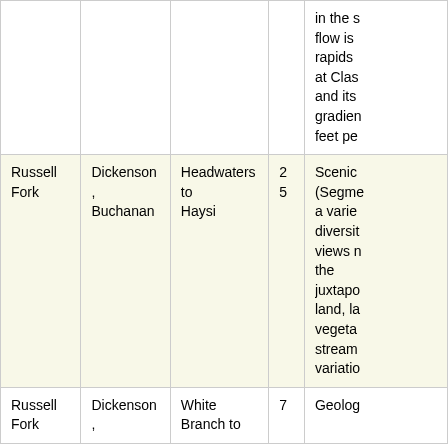| River | County | Segment | Miles | Description |
| --- | --- | --- | --- | --- |
|  |  |  |  | in the s... flow is ... rapids ... at Clas... and its ... gradien... feet pe... |
| Russell Fork | Dickenson, Buchanan | Headwaters to Haysi | 25 | Scenic... (Segme... a varie... diversit... views n... the juxtapo... land, la... vegeta... stream... variatio... |
| Russell Fork | Dickenson, | White Branch to | 7 | Geolog... |